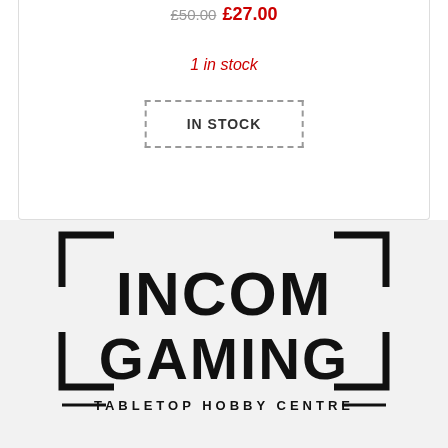£50.00 £27.00
1 in stock
IN STOCK
[Figure (logo): Incom Gaming Tabletop Hobby Centre logo — bold blocky black text with square bracket corner decorations]